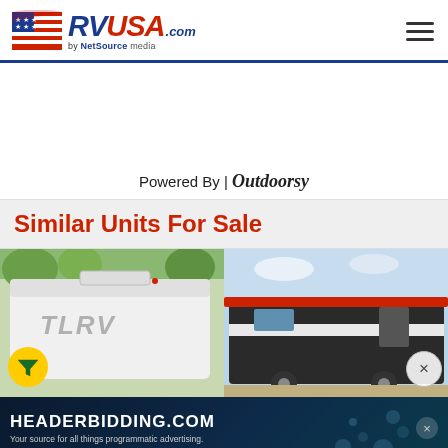[Figure (logo): RVUSA.com by NetSource Media logo with American flag graphic and hamburger menu icon]
Powered By | Outdoorsy
Similar Units For Sale
[Figure (photo): Photo of a white TLRV RV unit parked outdoors with trees in background]
[Figure (photo): Photo of a dark-colored toy hauler RV with awning extended, parked outdoors]
[Figure (other): HEADERBIDDING.COM advertisement banner: 'Your source for all things programmatic advertising.']